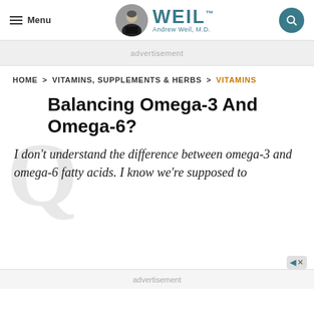Menu | WEIL Andrew Weil, M.D.
advertisement
HOME > VITAMINS, SUPPLEMENTS & HERBS > VITAMINS
Balancing Omega-3 And Omega-6?
I don't understand the difference between omega-3 and omega-6 fatty acids. I know we're supposed to
advertisement